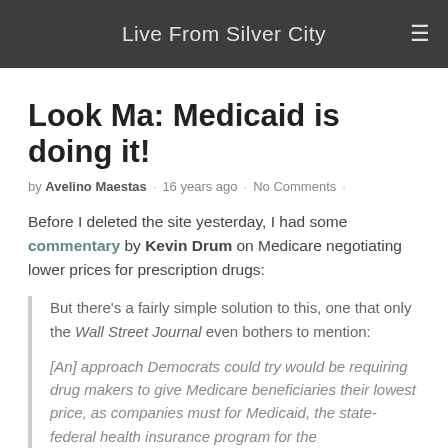Live From Silver City
Look Ma: Medicaid is doing it!
by Avelino Maestas · 16 years ago · No Comments ·
Before I deleted the site yesterday, I had some commentary by Kevin Drum on Medicare negotiating lower prices for prescription drugs:
But there's a fairly simple solution to this, one that only the Wall Street Journal even bothers to mention:
[An] approach Democrats could try would be requiring drug makers to give Medicare beneficiaries their lowest price, as companies must for Medicaid, the state-federal health insurance program for the